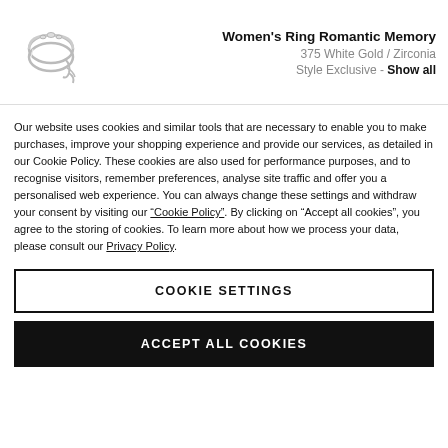[Figure (photo): Women's ring product image - a white gold ring with stones]
Women's Ring Romantic Memory
375 White Gold / Zirconia
Style Exclusive - Show all
Our website uses cookies and similar tools that are necessary to enable you to make purchases, improve your shopping experience and provide our services, as detailed in our Cookie Policy. These cookies are also used for performance purposes, and to recognise visitors, remember preferences, analyse site traffic and offer you a personalised web experience. You can always change these settings and withdraw your consent by visiting our “Cookie Policy”. By clicking on “Accept all cookies”, you agree to the storing of cookies. To learn more about how we process your data, please consult our Privacy Policy.
COOKIE SETTINGS
ACCEPT ALL COOKIES